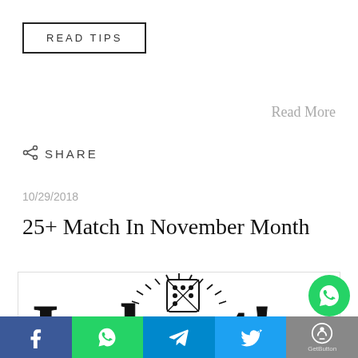READ TIPS
Read More
SHARE
10/29/2018
25+ Match In November Month
[Figure (illustration): Black and white 'Jackpot!' text logo with a dice showing dots, surrounded by radiating lines, stylized bold lettering]
[Figure (infographic): Social sharing bottom bar with Facebook, WhatsApp, Telegram, Twitter, and GetButton icons; WhatsApp floating button overlay]